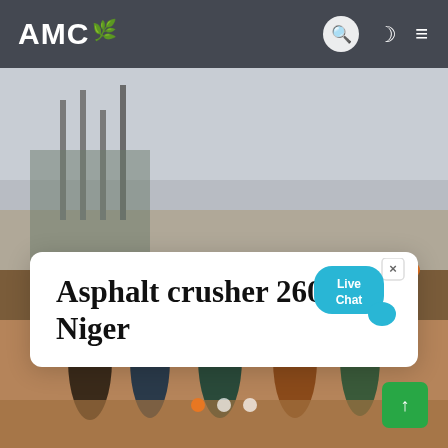AMC
[Figure (photo): Construction site photo showing workers standing around heavy machinery (crusher) on a sandy/dirt ground, with steel rebar and industrial equipment visible in the background under an overcast sky.]
Asphalt crusher 260 tph Niger
[Figure (infographic): Live Chat speech bubble widget in teal/cyan color with close button]